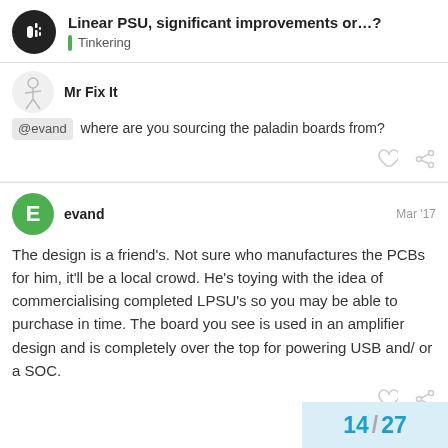Linear PSU, significant improvements or…? Tinkering
Mr Fix It
@evand where are you sourcing the paladin boards from?
evand Mar '17
The design is a friend's. Not sure who manufactures the PCBs for him, it'll be a local crowd. He's toying with the idea of commercialising completed LPSU's so you may be able to purchase in time. The board you see is used in an amplifier design and is completely over the top for powering USB and/ or a SOC.
14 / 27